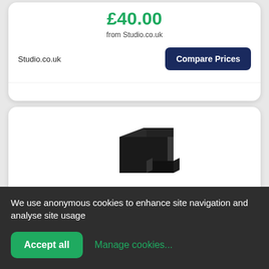£40.00
from Studio.co.uk
Studio.co.uk
Compare Prices
[Figure (photo): Black L-shaped garden furniture cover product image]
MUFF Garden L-Shape Furniture Co...
£40.00
We use anonymous cookies to enhance site navigation and analyse site usage
Accept all
Manage cookies...